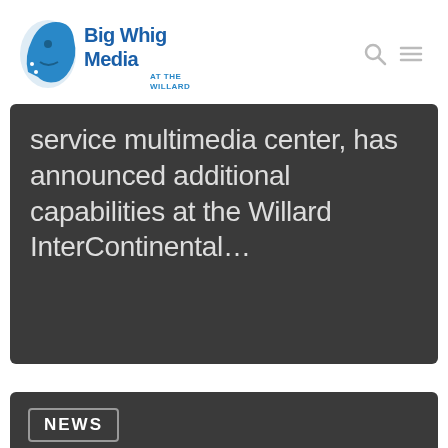Big Whig Media AT THE WILLARD
service multimedia center, has announced additional capabilities at the Willard InterContinental...
[Figure (logo): NEWS badge/label in dark card]
NEWS